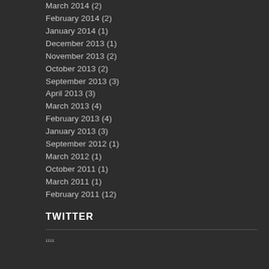March 2014 (2)
February 2014 (2)
January 2014 (1)
December 2013 (1)
November 2013 (2)
October 2013 (2)
September 2013 (3)
April 2013 (3)
March 2013 (4)
February 2013 (4)
January 2013 (3)
September 2012 (1)
March 2012 (1)
October 2011 (1)
March 2011 (1)
February 2011 (12)
TWITTER
““